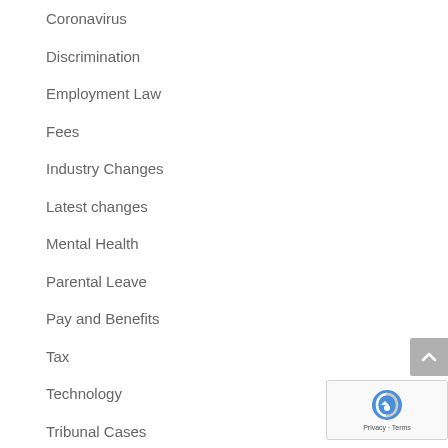Coronavirus
Discrimination
Employment Law
Fees
Industry Changes
Latest changes
Mental Health
Parental Leave
Pay and Benefits
Tax
Technology
Tribunal Cases
Uncategorised
Upcoming Changes
Working Hours and Annual Leave